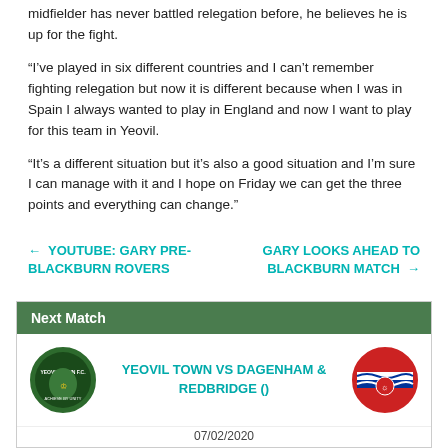midfielder has never battled relegation before, he believes he is up for the fight.
“I’ve played in six different countries and I can’t remember fighting relegation but now it is different because when I was in Spain I always wanted to play in England and now I want to play for this team in Yeovil.
“It’s a different situation but it’s also a good situation and I’m sure I can manage with it and I hope on Friday we can get the three points and everything can change.”
← YOUTUBE: GARY PRE-BLACKBURN ROVERS
GARY LOOKS AHEAD TO BLACKBURN MATCH →
Next Match
YEOVIL TOWN VS DAGENHAM & REDBRIDGE ()